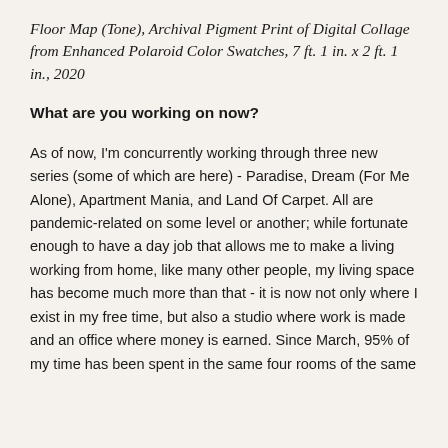Floor Map (Tone), Archival Pigment Print of Digital Collage from Enhanced Polaroid Color Swatches, 7 ft. 1 in. x 2 ft. 1 in., 2020
What are you working on now?
As of now, I'm concurrently working through three new series (some of which are here) - Paradise, Dream (For Me Alone), Apartment Mania, and Land Of Carpet. All are pandemic-related on some level or another; while fortunate enough to have a day job that allows me to make a living working from home, like many other people, my living space has become much more than that - it is now not only where I exist in my free time, but also a studio where work is made and an office where money is earned. Since March, 95% of my time has been spent in the same four rooms of the same